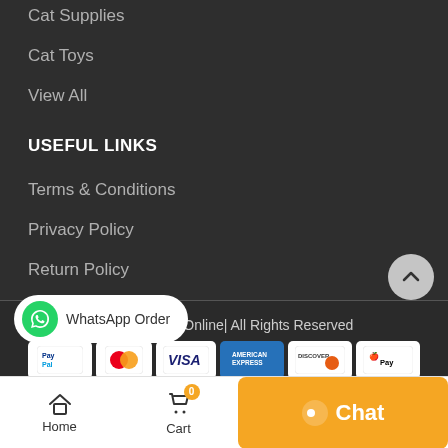Cat Supplies
Cat Toys
View All
USEFUL LINKS
Terms & Conditions
Privacy Policy
Return Policy
© 2021 | Pets Online| All Rights Reserved
[Figure (other): Payment icons: PayPal, Mastercard, Visa, American Express, Discover, Apple Pay]
[Figure (other): WhatsApp Order button]
[Figure (other): Scroll up circular button with arrow]
[Figure (other): Bottom navigation bar with Home, Cart icons and Chat button]